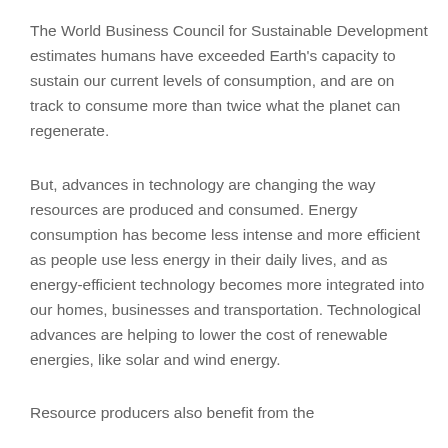The World Business Council for Sustainable Development estimates humans have exceeded Earth's capacity to sustain our current levels of consumption, and are on track to consume more than twice what the planet can regenerate.
But, advances in technology are changing the way resources are produced and consumed. Energy consumption has become less intense and more efficient as people use less energy in their daily lives, and as energy-efficient technology becomes more integrated into our homes, businesses and transportation. Technological advances are helping to lower the cost of renewable energies, like solar and wind energy.
Resource producers also benefit from the